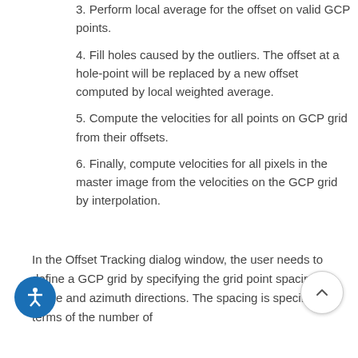3. Perform local average for the offset on valid GCP points.
4. Fill holes caused by the outliers. The offset at a hole-point will be replaced by a new offset computed by local weighted average.
5. Compute the velocities for all points on GCP grid from their offsets.
6. Finally, compute velocities for all pixels in the master image from the velocities on the GCP grid by interpolation.
In the Offset Tracking dialog window, the user needs to define a GCP grid by specifying the grid point spacing in range and azimuth directions. The spacing is specified in terms of the number of